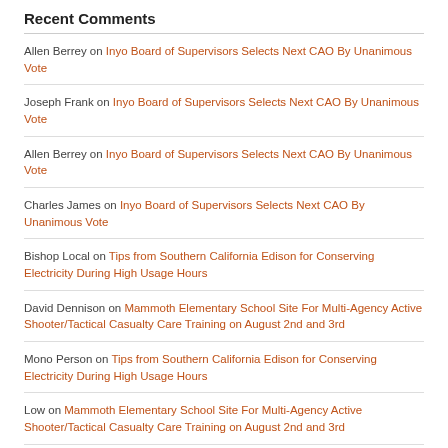Recent Comments
Allen Berrey on Inyo Board of Supervisors Selects Next CAO By Unanimous Vote
Joseph Frank on Inyo Board of Supervisors Selects Next CAO By Unanimous Vote
Allen Berrey on Inyo Board of Supervisors Selects Next CAO By Unanimous Vote
Charles James on Inyo Board of Supervisors Selects Next CAO By Unanimous Vote
Bishop Local on Tips from Southern California Edison for Conserving Electricity During High Usage Hours
David Dennison on Mammoth Elementary School Site For Multi-Agency Active Shooter/Tactical Casualty Care Training on August 2nd and 3rd
Mono Person on Tips from Southern California Edison for Conserving Electricity During High Usage Hours
Low on Mammoth Elementary School Site For Multi-Agency Active Shooter/Tactical Casualty Care Training on August 2nd and 3rd